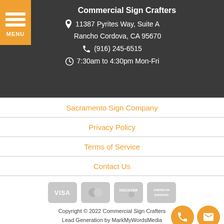Commercial Sign Crafters
11387 Pyrites Way, Suite A
Rancho Cordova, CA 95670
(916) 245-6515
7:30am to 4:30pm Mon-Fri
Sacramento Sign Company
Privacy Policy
Terms of Service
Contact Us
[Figure (other): Payment card icons: Visa, Mastercard, Discover, American Express]
Copyright © 2022 Commercial Sign Crafters
Lead Generation by MarkMyWordsMedia